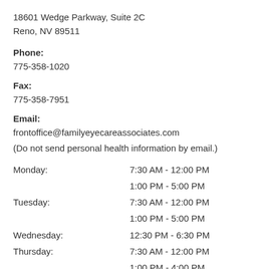18601 Wedge Parkway, Suite 2C
Reno, NV 89511
Phone:
775-358-1020
Fax:
775-358-7951
Email:
frontoffice@familyeyecareassociates.com
(Do not send personal health information by email.)
| Day | Hours |
| --- | --- |
| Monday: | 7:30 AM - 12:00 PM |
|  | 1:00 PM - 5:00 PM |
| Tuesday: | 7:30 AM - 12:00 PM |
|  | 1:00 PM - 5:00 PM |
| Wednesday: | 12:30 PM - 6:30 PM |
| Thursday: | 7:30 AM - 12:00 PM |
|  | 1:00 PM - 4:00 PM |